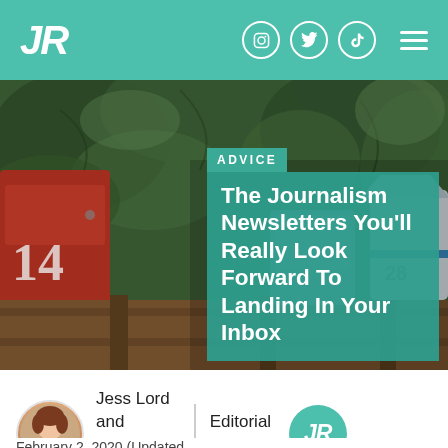JR
[Figure (screenshot): Hero image of mailboxes (numbered 14 and 28) on a wooden fence with green foliage background]
ADVICE
The Journalism Newsletters You'll Really Look Forward To Landing In Your Inbox
Jess Lord and Fern McErlane
Editorial Assistant
February 2, 2020 (Updated